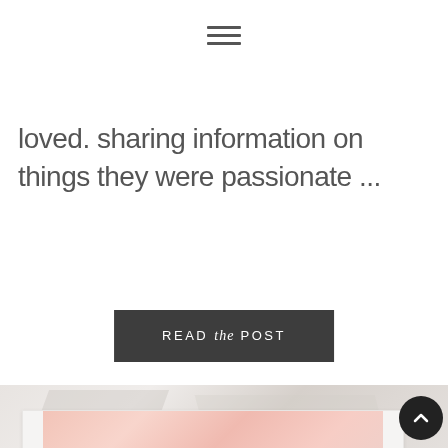≡ (hamburger navigation icon)
loved. sharing information on things they were passionate ...
READ the POST
[Figure (photo): Marble texture decorative band]
[Figure (illustration): Blog post card preview with pink floral background and white label reading 'The Secret Recipe']
[Figure (other): Back-to-top circular dark button with upward chevron arrow]